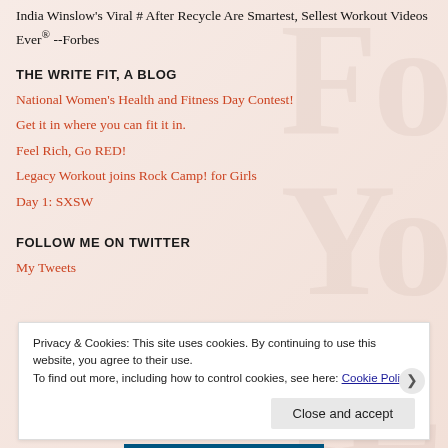India Winslow's Viral # After Recycle Are Smartest, Sellest Workout Videos Ever® --Forbes
THE WRITE FIT, A BLOG
National Women's Health and Fitness Day Contest!
Get it in where you can fit it in.
Feel Rich, Go RED!
Legacy Workout joins Rock Camp! for Girls
Day 1: SXSW
FOLLOW ME ON TWITTER
My Tweets
Privacy & Cookies: This site uses cookies. By continuing to use this website, you agree to their use.
To find out more, including how to control cookies, see here: Cookie Policy
Close and accept